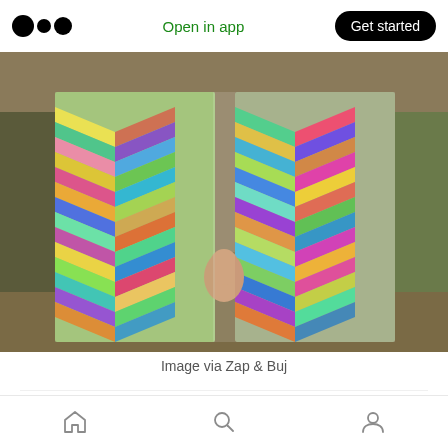Open in app | Get started
[Figure (photo): Person holding or wearing a colorful iridescent chevron-patterned garment, outdoors with dirt ground and trees in background. The fabric has a herringbone/zigzag pattern with rainbow metallic colors including green, pink, blue, yellow, and orange.]
Image via Zap & Buj
Via À LA HAUSSE's Multi-functional and Multi
Home | Search | Profile